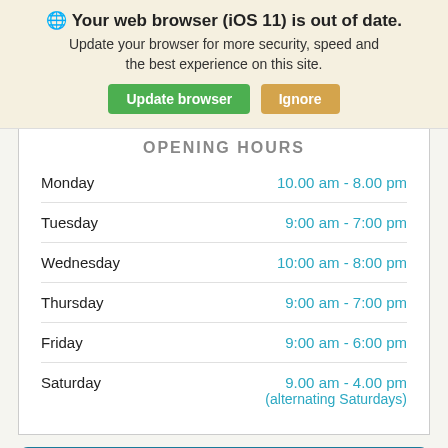🌐 Your web browser (iOS 11) is out of date. Update your browser for more security, speed and the best experience on this site.
Update browser | Ignore
OPENING HOURS
| Day | Hours |
| --- | --- |
| Monday | 10.00 am - 8.00 pm |
| Tuesday | 9:00 am - 7:00 pm |
| Wednesday | 10:00 am - 8:00 pm |
| Thursday | 9:00 am - 7:00 pm |
| Friday | 9:00 am - 6:00 pm |
| Saturday | 9.00 am - 4.00 pm (alternating Saturdays) |
CALL US TODAY!